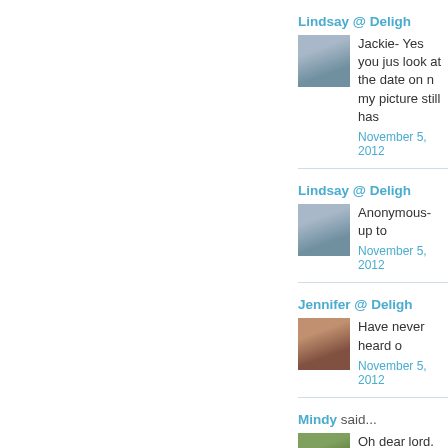Lindsay @ Deligh...
Jackie- Yes you ju... look at the date on n... my picture still has...
November 5, 2012...
Lindsay @ Deligh...
Anonymous- up to...
November 5, 2012...
Jennifer @ Deligh...
Have never heard o...
November 5, 2012...
Mindy said...
Oh dear lord. Some... NOT...